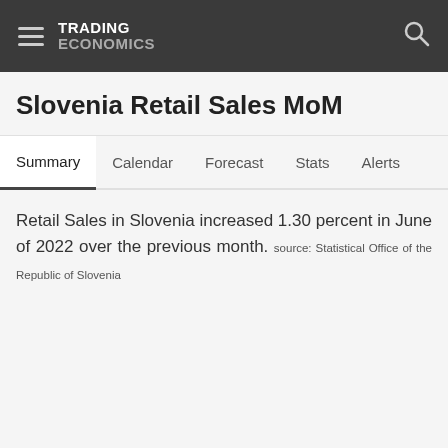TRADING ECONOMICS
Slovenia Retail Sales MoM
Summary  Calendar  Forecast  Stats  Alerts
Retail Sales in Slovenia increased 1.30 percent in June of 2022 over the previous month. source: Statistical Office of the Republic of Slovenia